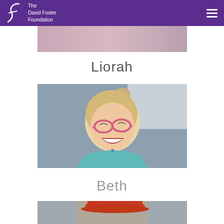The David Foster Foundation
[Figure (photo): Partial view of a photo at top of page, showing pink/purple tones]
Liorah
[Figure (photo): Photo of a young girl with blonde pigtails wearing pink glasses and a teal top, laughing with mouth open, background is gray/blue]
Beth
[Figure (photo): Partial photo showing someone wearing a red/orange hat, cropped at bottom of page]